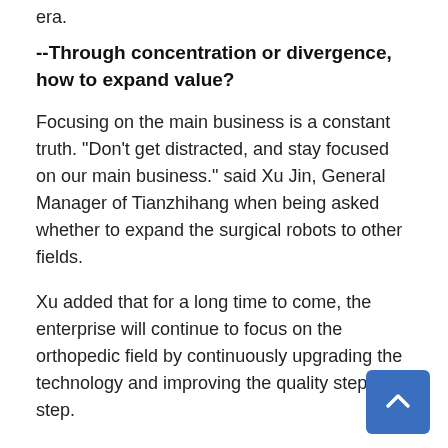era.
--Through concentration or divergence, how to expand value?
Focusing on the main business is a constant truth. "Don't get distracted, and stay focused on our main business." said Xu Jin, General Manager of Tianzhihang when being asked whether to expand the surgical robots to other fields.
Xu added that for a long time to come, the enterprise will continue to focus on the orthopedic field by continuously upgrading the technology and improving the quality step by step.
Concentration is the foundation while divergence is the method. In the eyes of many entrepreneurs, the two concepts harbor profound philosophical principles.